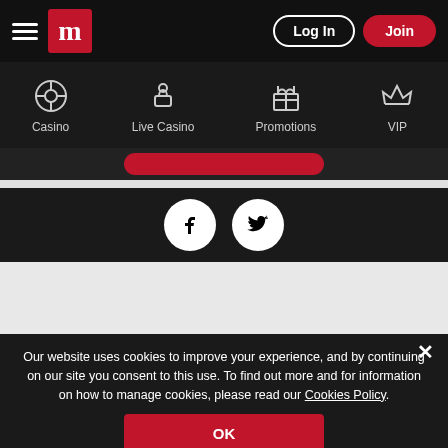[Figure (screenshot): Top navigation bar with hamburger menu, M logo, Log In button, and Join button on black background]
[Figure (screenshot): Sub-navigation bar with Casino, Live Casino, Promotions, VIP icons on dark background]
[Figure (screenshot): Social media icons for Facebook and Twitter]
Our website uses cookies to improve your experience, and by continuing on our site you consent to this use. To find out more and for information on how to manage cookies, please read our Cookies Policy.